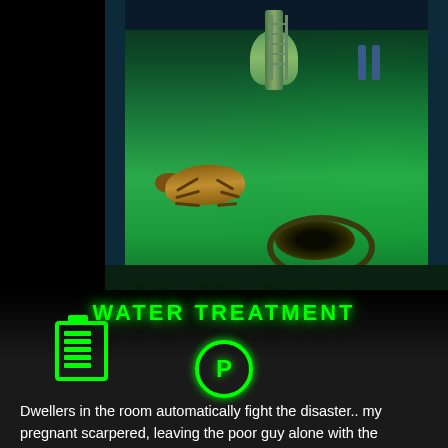[Figure (screenshot): Screenshot of a video game (Fallout Shelter) showing a Water Treatment room with a Radroach enemy on a green-lit floor, a pipe/tank object, character legs visible, a dark hole in the floor, a battery icon (green), a circular P button (green), and the room title WATER TREATMENT in green text.]
Dwellers in the room automatically fight the disaster.. my pregnant scarpered, leaving the poor guy alone with the Radroach. Once th was gone, the room returned to normal. However, the water situati not great, so I rushed it again, despite that higher incident risk!